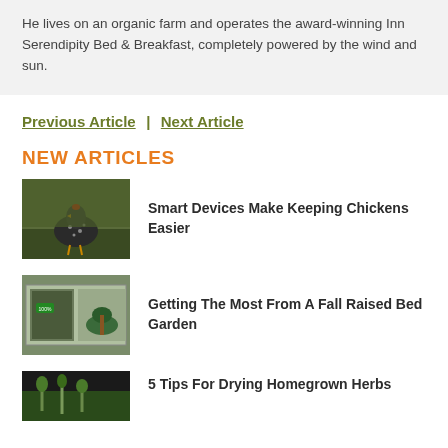He lives on an organic farm and operates the award-winning Inn Serendipity Bed & Breakfast, completely powered by the wind and sun.
Previous Article | Next Article
NEW ARTICLES
[Figure (photo): A speckled chicken standing on a wooden surface, viewed from the side]
Smart Devices Make Keeping Chickens Easier
[Figure (photo): A raised garden bed with a cold frame cover, showing plants inside]
Getting The Most From A Fall Raised Bed Garden
[Figure (photo): Homegrown herbs being dried, partially visible at bottom of page]
5 Tips For Drying Homegrown Herbs